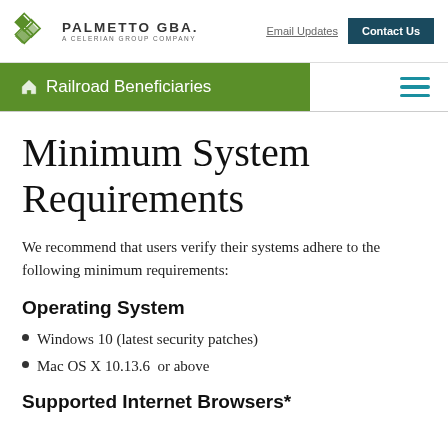PALMETTO GBA. A CELERIAN GROUP COMPANY | Email Updates | Contact Us
Railroad Beneficiaries
Minimum System Requirements
We recommend that users verify their systems adhere to the following minimum requirements:
Operating System
Windows 10 (latest security patches)
Mac OS X 10.13.6  or above
Supported Internet Browsers*